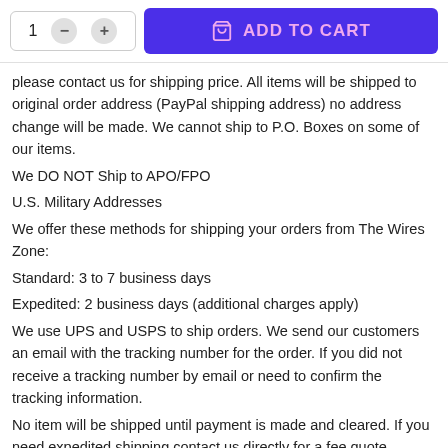[Figure (screenshot): Add to cart UI with quantity selector (1, minus, plus buttons) and a purple ADD TO CART button with shopping bag icon]
please contact us for shipping price. All items will be shipped to original order address (PayPal shipping address) no address change will be made. We cannot ship to P.O. Boxes on some of our items.
We DO NOT Ship to APO/FPO
U.S. Military Addresses
We offer these methods for shipping your orders from The Wires Zone:
Standard: 3 to 7 business days
Expedited: 2 business days (additional charges apply)
We use UPS and USPS to ship orders. We send our customers an email with the tracking number for the order. If you did not receive a tracking number by email or need to confirm the tracking information.
No item will be shipped until payment is made and cleared. If you need expedited shipping contact us directly for a fee quote. International orders are shipped ship through USPS International Priority and after a 24 to 48 hour processing period. Delivery